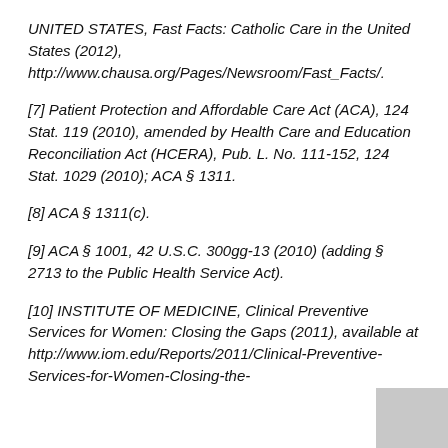UNITED STATES, Fast Facts: Catholic Care in the United States (2012), http://www.chausa.org/Pages/Newsroom/Fast_Facts/.
[7] Patient Protection and Affordable Care Act (ACA), 124 Stat. 119 (2010), amended by Health Care and Education Reconciliation Act (HCERA), Pub. L. No. 111-152, 124 Stat. 1029 (2010); ACA § 1311.
[8] ACA § 1311(c).
[9] ACA § 1001, 42 U.S.C. 300gg-13 (2010) (adding § 2713 to the Public Health Service Act).
[10] INSTITUTE OF MEDICINE, Clinical Preventive Services for Women: Closing the Gaps (2011), available at http://www.iom.edu/Reports/2011/Clinical-Preventive-Services-for-Women-Closing-the-